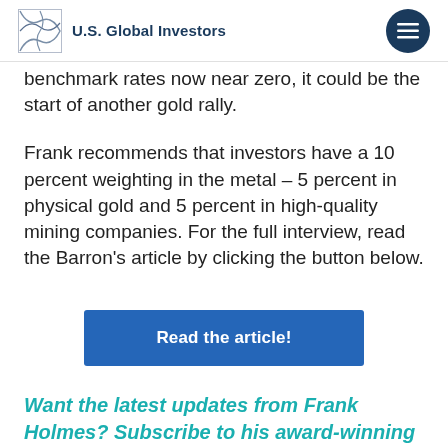U.S. Global Investors
benchmark rates now near zero, it could be the start of another gold rally.
Frank recommends that investors have a 10 percent weighting in the metal – 5 percent in physical gold and 5 percent in high-quality mining companies. For the full interview, read the Barron's article by clicking the button below.
Read the article!
Want the latest updates from Frank Holmes? Subscribe to his award-winning CEO blog